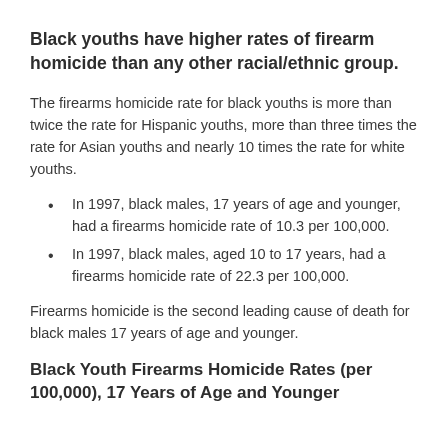Black youths have higher rates of firearm homicide than any other racial/ethnic group.
The firearms homicide rate for black youths is more than twice the rate for Hispanic youths, more than three times the rate for Asian youths and nearly 10 times the rate for white youths.
In 1997, black males, 17 years of age and younger, had a firearms homicide rate of 10.3 per 100,000.
In 1997, black males, aged 10 to 17 years, had a firearms homicide rate of 22.3 per 100,000.
Firearms homicide is the second leading cause of death for black males 17 years of age and younger.
Black Youth Firearms Homicide Rates (per 100,000), 17 Years of Age and Younger